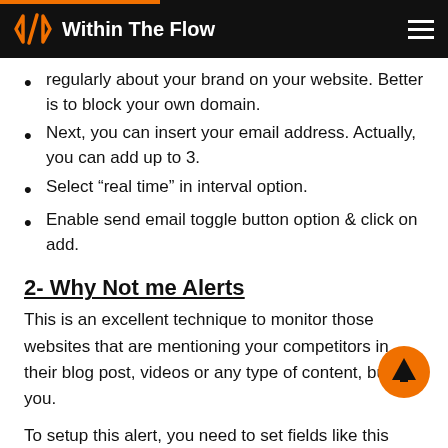Within The Flow
regularly about your brand on your website. Better is to block your own domain.
Next, you can insert your email address. Actually, you can add up to 3.
Select “real time” in interval option.
Enable send email toggle button option & click on add.
2- Why Not me Alerts
This is an excellent technique to monitor those websites that are mentioning your competitors in their blog post, videos or any type of content, but not you.
To setup this alert, you need to set fields like this